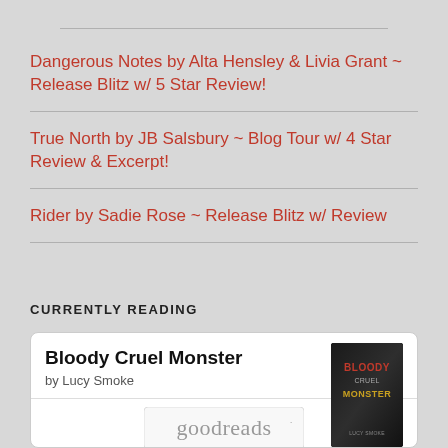Dangerous Notes by Alta Hensley & Livia Grant ~ Release Blitz w/ 5 Star Review!
True North by JB Salsbury ~ Blog Tour w/ 4 Star Review & Excerpt!
Rider by Sadie Rose ~ Release Blitz w/ Review
CURRENTLY READING
Bloody Cruel Monster
by Lucy Smoke
[Figure (logo): Goodreads logo in gray text]
[Figure (photo): Book cover of Bloody Cruel Monster by Lucy Smoke, dark background with red and gold text]